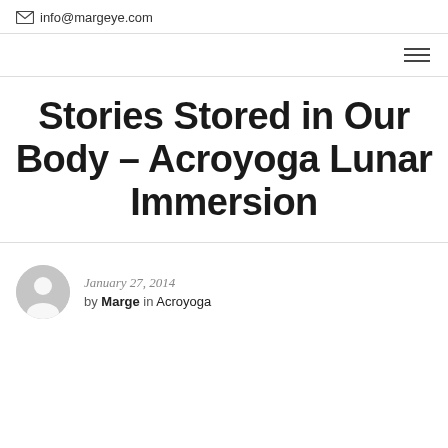info@margeye.com
Stories Stored in Our Body – Acroyoga Lunar Immersion
January 27, 2014 by Marge in Acroyoga